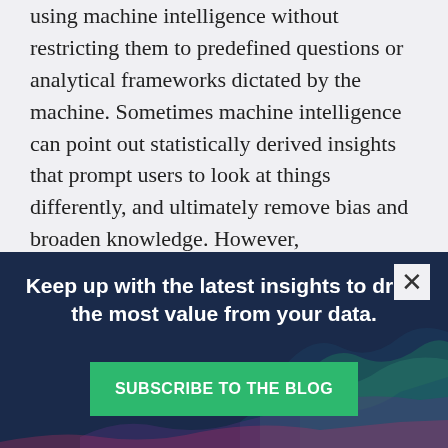using machine intelligence without restricting them to predefined questions or analytical frameworks dictated by the machine. Sometimes machine intelligence can point out statistically derived insights that prompt users to look at things differently, and ultimately remove bias and broaden knowledge. However,
Keep up with the latest insights to drive the most value from your data.
SUBSCRIBE TO THE BLOG